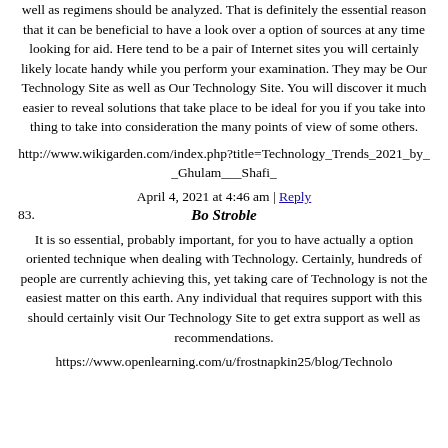well as regimens should be analyzed. That is definitely the essential reason that it can be beneficial to have a look over a option of sources at any time looking for aid. Here tend to be a pair of Internet sites you will certainly likely locate handy while you perform your examination. They may be Our Technology Site as well as Our Technology Site. You will discover it much easier to reveal solutions that take place to be ideal for you if you take into thing to take into consideration the many points of view of some others.
http://www.wikigarden.com/index.php?title=Technology_Trends_2021_by__Ghulam___Shafi_
April 4, 2021 at 4:46 am | Reply
83. Bo Stroble
It is so essential, probably important, for you to have actually a option oriented technique when dealing with Technology. Certainly, hundreds of people are currently achieving this, yet taking care of Technology is not the easiest matter on this earth. Any individual that requires support with this should certainly visit Our Technology Site to get extra support as well as recommendations.
https://www.openlearning.com/u/frostnapkin25/blog/Technolo